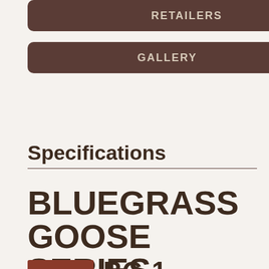[Figure (other): RETAILERS button - dark brown rounded rectangle with light text]
[Figure (other): GALLERY button - dark brown rounded rectangle with light text]
Specifications
BLUEGRASS GOOSE SERIES DREADNOUGHT
[Figure (other): Small product image thumbnail (reddish-brown) followed by partial model number text]